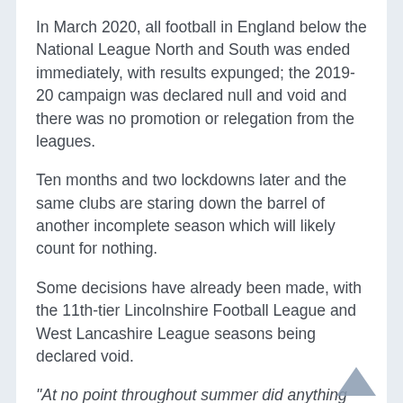In March 2020, all football in England below the National League North and South was ended immediately, with results expunged; the 2019-20 campaign was declared null and void and there was no promotion or relegation from the leagues.
Ten months and two lockdowns later and the same clubs are staring down the barrel of another incomplete season which will likely count for nothing.
Some decisions have already been made, with the 11th-tier Lincolnshire Football League and West Lancashire League seasons being declared void.
“At no point throughout summer did anything come back from the Football Association as to what was going to be the situation if this season were to be curtailed. It was fairly obvious that it was quite highly likely that it was going to be,” said Steve Richardson,